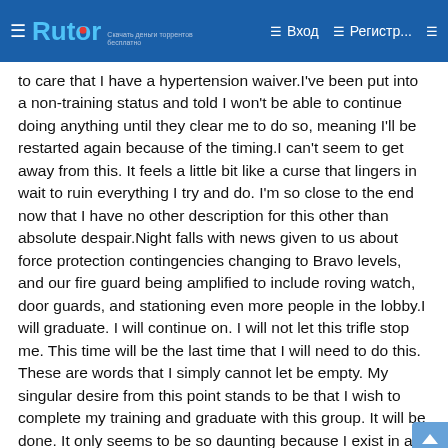Rutor | Вход | Регистр...
to care that I have a hypertension waiver.I've been put into a non-training status and told I won't be able to continue doing anything until they clear me to do so, meaning I'll be restarted again because of the timing.I can't seem to get away from this. It feels a little bit like a curse that lingers in wait to ruin everything I try and do. I'm so close to the end now that I have no other description for this other than absolute despair.Night falls with news given to us about force protection contingencies changing to Bravo levels, and our fire guard being amplified to include roving watch, door guards, and stationing even more people in the lobby.I will graduate. I will continue on. I will not let this trifle stop me. This time will be the last time that I will need to do this. These are words that I simply cannot let be empty. My singular desire from this point stands to be that I wish to complete my training and graduate with this group. It will be done. It only seems to be so daunting because I exist in a time and place that lacks the patterns I've so keenly watched for so long.Day 274Morning comes disconnected and disjointed. Today is a sort of reckoning; I'll be going to make my case in front of a second